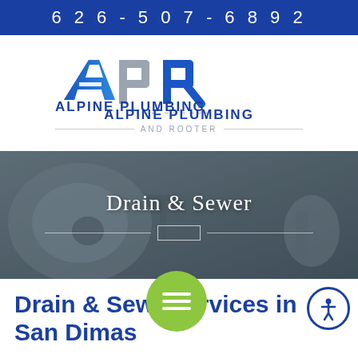626-507-6892
[Figure (logo): APR Alpine Plumbing and Rooter logo with stylized A, P, R letters in blue and grey]
[Figure (photo): Hero banner with bathroom sink/drain background image, overlay text 'Drain & Sewer' and decorative line divider]
Drain & Sewer Services in San Dimas